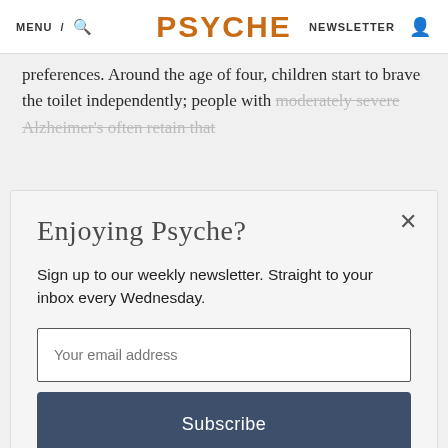MENU / [search] PSYCHE NEWSLETTER [user icon]
preferences. Around the age of four, children start to brave the toilet independently; people with moderately severe Alzheimer's often retain that
Enjoying Psyche?
Sign up to our weekly newsletter. Straight to your inbox every Wednesday.
Your email address
Subscribe
I'm already subscribed
Privacy Policy